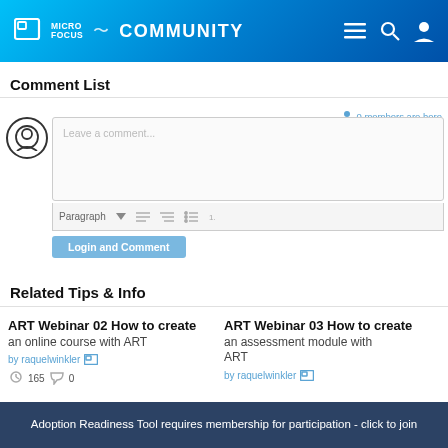Micro Focus Community
Comment List
0 members are here
Leave a comment...
Paragraph
Login and Comment
Related Tips & Info
ART Webinar 02 How to create an online course with ART
by raquelwinkler
ART Webinar 03 How to create an assessment module with ART
by raquelwinkler
Adoption Readiness Tool requires membership for participation - click to join